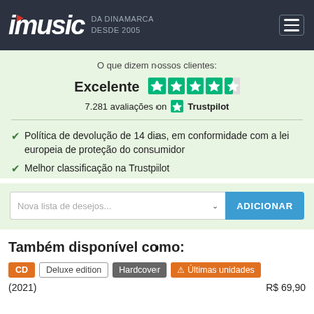imusic DA DINAMARCA DESDE 2005
O que dizem nossos clientes:
Excelente  ★★★★½
7.281 avaliações on ★ Trustpilot
✔ Política de devolução de 14 dias, em conformidade com a lei europeia de proteção do consumidor
✔ Melhor classificação na Trustpilot
Nova lista de desejos... ADICIONAR
Também disponível como:
CD  Deluxe edition  Hardcover  ⚠ Últimas unidades
(2021)  R$ 69,90